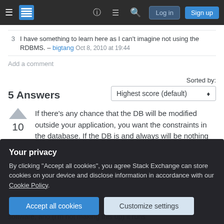[Figure (screenshot): Stack Exchange navigation bar with hamburger menu, logo, icons, Log in and Sign up buttons]
3  I have something to learn here as I can't imagine not using the RDBMS. – bigtang Oct 8, 2010 at 19:44
Add a comment
5 Answers
Sorted by: Highest score (default)
If there's any chance that the DB will be modified outside your application, you want the constraints in the database. If the DB is and always will be nothing
10
Your privacy
By clicking "Accept all cookies", you agree Stack Exchange can store cookies on your device and disclose information in accordance with our Cookie Policy.
Accept all cookies
Customize settings
software, and (I'm not making this up) it runs